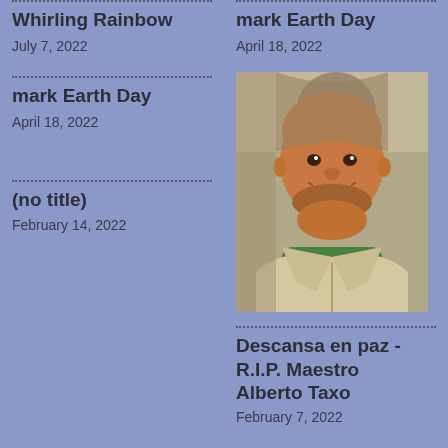Whirling Rainbow
July 7, 2022
mark Earth Day
April 18, 2022
(no title)
February 14, 2022
[Figure (photo): Portrait photo of a smiling bald man wearing a beige zip-up jacket over a green shirt, standing in front of an ornate stone architectural background.]
Descansa en paz - R.I.P. Maestro Alberto Taxo
February 7, 2022